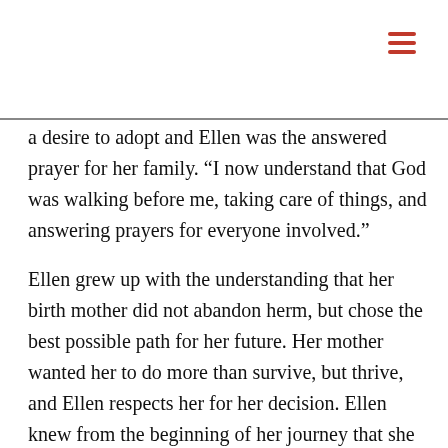[Figure (other): Hamburger menu icon (three horizontal red lines) in top-right corner]
a desire to adopt and Ellen was the answered prayer for her family. “I now understand that God was walking before me, taking care of things, and answering prayers for everyone involved.”
Ellen grew up with the understanding that her birth mother did not abandon herm, but chose the best possible path for her future. Her mother wanted her to do more than survive, but thrive, and Ellen respects her for her decision. Ellen knew from the beginning of her journey that she was loved by two families which allowed her to accept herself and her story and love both her adoptive parents and birth